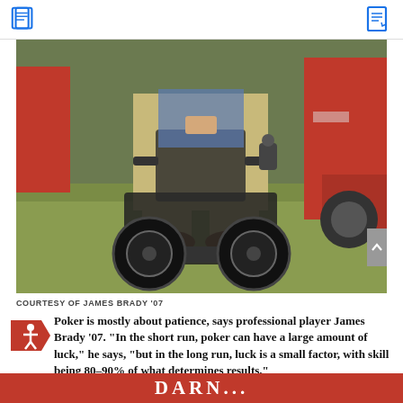[Figure (photo): Person seated in a motorized wheelchair outdoors on grass, with a red vintage car (Mustang) visible in the background. Only the lower body is visible — wearing khaki pants and brown shoes. The wheelchair has large black wheels.]
COURTESY OF JAMES BRADY '07
Poker is mostly about patience, says professional player James Brady '07. "In the short run, poker can have a large amount of luck," he says, "but in the long run, luck is a small factor, with skill being 80–90% of what determines results."
DARN...